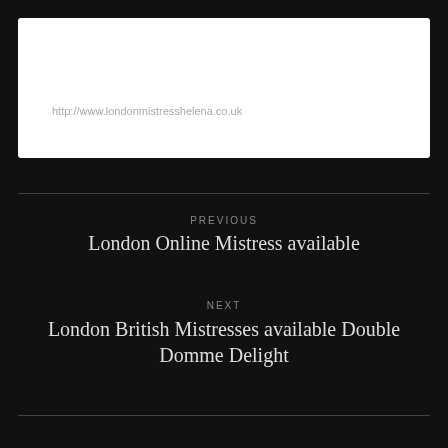[Figure (screenshot): White browser address bar / image placeholder with URL text]
http://www.londonmistresshelena.co.uk
PREVIOUS
London Online Mistress available
NEXT
London British Mistresses available Double Domme Delight